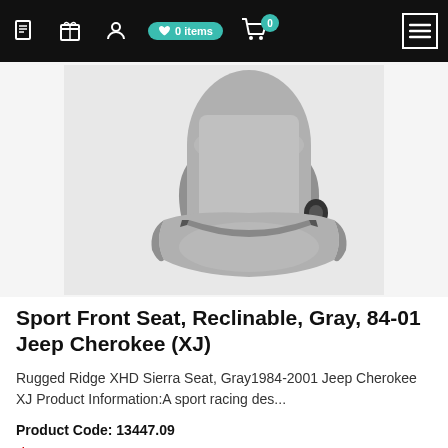Navigation bar with icons: document, gift, user, 0 items wishlist, cart 0, hamburger menu
[Figure (photo): Gray reclinable sport front seat for Jeep Cherokee (XJ), shown at an angle on a light gray background]
Sport Front Seat, Reclinable, Gray, 84-01 Jeep Cherokee (XJ)
Rugged Ridge XHD Sierra Seat, Gray1984-2001 Jeep Cherokee XJ Product Information:A sport racing des...
Product Code: 13447.09
$356.99